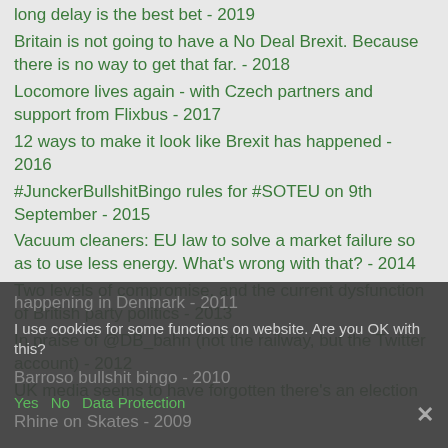long delay is the best bet - 2019
Britain is not going to have a No Deal Brexit. Because there is no way to get that far. - 2018
Locomore lives again - with Czech partners and support from Flixbus - 2017
12 ways to make it look like Brexit has happened - 2016
#JunckerBullshitBingo rules for #SOTEU on 9th September - 2015
Vacuum cleaners: EU law to solve a market failure so as to use less energy. What's wrong with that? - 2014
Two levels of compromise, and the current dysfunction of British party politics - 2013
In praise of @DB_bahn (not the railway, but the Twitter account) - 2012
UK media seems to have forgotten there's an election happening in Denmark - 2011
Barroso bullshit bingo - 2010
Rhine on Skates - 2009
I use cookies for some functions on website. Are you OK with this? Yes  No  Data Protection